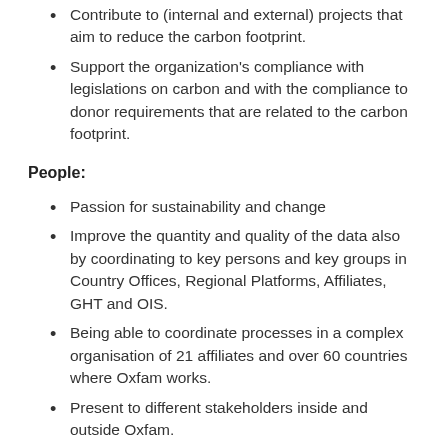Contribute to (internal and external) projects that aim to reduce the carbon footprint.
Support the organization's compliance with legislations on carbon and with the compliance to donor requirements that are related to the carbon footprint.
People:
Passion for sustainability and change
Improve the quantity and quality of the data also by coordinating to key persons and key groups in Country Offices, Regional Platforms, Affiliates, GHT and OIS.
Being able to coordinate processes in a complex organisation of 21 affiliates and over 60 countries where Oxfam works.
Present to different stakeholders inside and outside Oxfam.